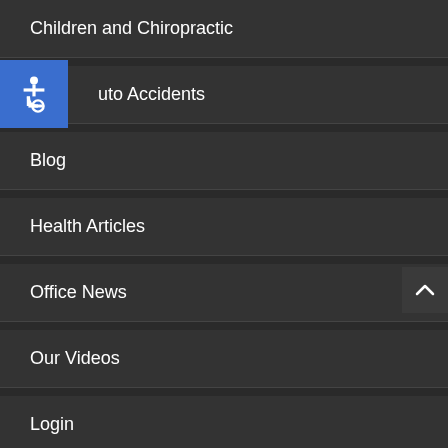Children and Chiropractic
Auto Accidents
Blog
Health Articles
Office News
Our Videos
Login
Register
[Figure (illustration): Accessibility icon - wheelchair symbol in white on blue square background]
[Figure (illustration): Scroll to top button with upward chevron arrow on dark background]